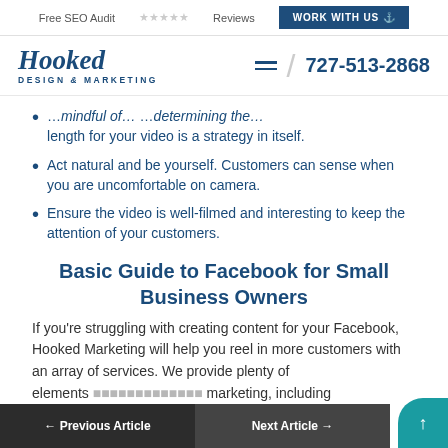Free SEO Audit   ★★★★★ Reviews   WORK WITH US
[Figure (logo): Hooked Design & Marketing logo with phone number 727-513-2868]
…mindful of… …determining the… length for your video is a strategy in itself.
Act natural and be yourself. Customers can sense when you are uncomfortable on camera.
Ensure the video is well-filmed and interesting to keep the attention of your customers.
Basic Guide to Facebook for Small Business Owners
If you're struggling with creating content for your Facebook, Hooked Marketing will help you reel in more customers with an array of services. We provide plenty of elements … marketing, including … and even …